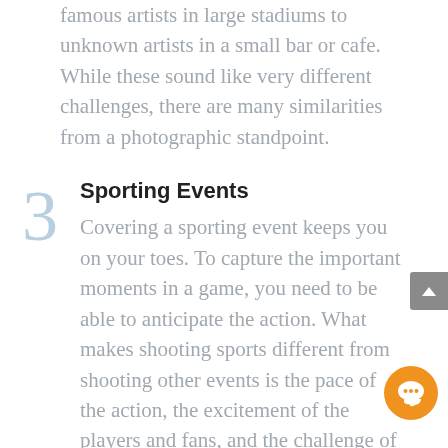famous artists in large stadiums to unknown artists in a small bar or cafe. While these sound like very different challenges, there are many similarities from a photographic standpoint.
Sporting Events
Covering a sporting event keeps you on your toes. To capture the important moments in a game, you need to be able to anticipate the action. What makes shooting sports different from shooting other events is the pace of the action, the excitement of the players and fans, and the challenge of getting close to